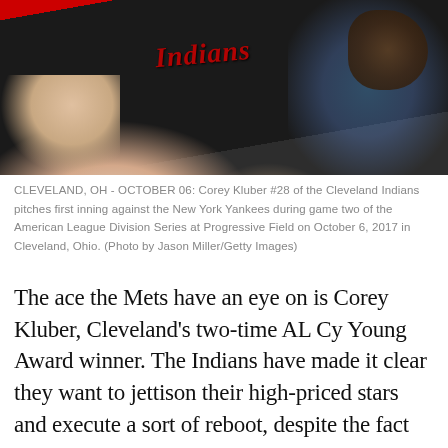[Figure (photo): Corey Kluber #28 of the Cleveland Indians pitching, wearing black Indians jersey, mid-throw motion, with crowd visible in background]
CLEVELAND, OH - OCTOBER 06: Corey Kluber #28 of the Cleveland Indians pitches first inning against the New York Yankees during game two of the American League Division Series at Progressive Field on October 6, 2017 in Cleveland, Ohio. (Photo by Jason Miller/Getty Images)
The ace the Mets have an eye on is Corey Kluber, Cleveland's two-time AL Cy Young Award winner. The Indians have made it clear they want to jettison their high-priced stars and execute a sort of reboot, despite the fact that they have made the playoffs the last three seasons. Kluber, a 32-year-old right-hander, is 96-55 with a 3.09 ERA during his eight-year career, including a stellar 56-20 record since the start of the 2016 season.